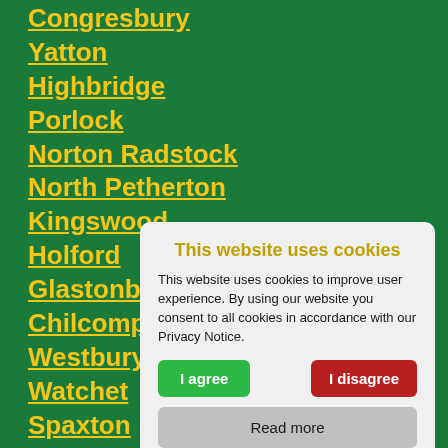Congresbury
Yatton
Highbridge
Porlock
Norton Radstock
North Petherton
Kingswood
Holford
Glastonbury
Chilcompton
Westbury-sub-...
Watchet
Spaxton
Shepton Mallet
Rudge
This website uses cookies
This website uses cookies to improve user experience. By using our website you consent to all cookies in accordance with our Privacy Notice.